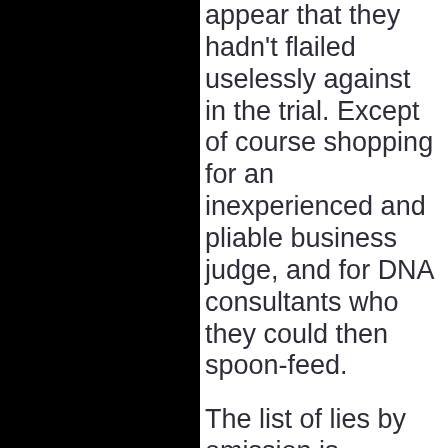appear that they hadn't flailed uselessly against in the trial. Except of course shopping for an inexperienced and pliable business judge, and for DNA consultants who they could then spoon-feed.
The list of lies by omission is extremely long. Much of the hard evidence